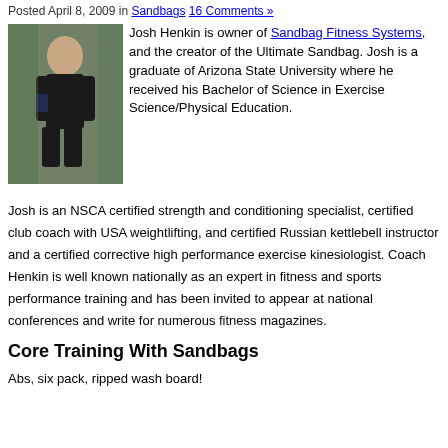Posted April 8, 2009 in Sandbags 16 Comments »
[Figure (photo): Photo of Josh Henkin squatting outdoors in black athletic shirt and shorts]
Josh Henkin is owner of Sandbag Fitness Systems, and the creator of the Ultimate Sandbag. Josh is a graduate of Arizona State University where he received his Bachelor of Science in Exercise Science/Physical Education.
Josh is an NSCA certified strength and conditioning specialist, certified club coach with USA weightlifting, and certified Russian kettlebell instructor and a certified corrective high performance exercise kinesiologist. Coach Henkin is well known nationally as an expert in fitness and sports performance training and has been invited to appear at national conferences and write for numerous fitness magazines.
Core Training With Sandbags
Abs, six pack, ripped wash board!